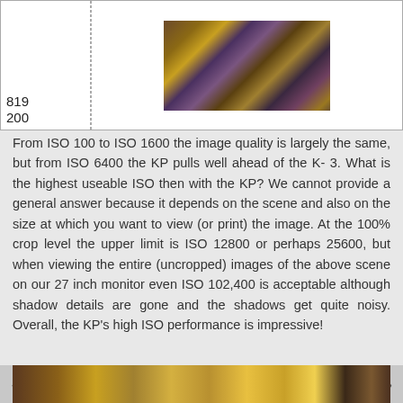[Figure (photo): Noisy high-ISO camera test photo showing a scene with yellow and purple tones, cropped view]
819
200
From ISO 100 to ISO 1600 the image quality is largely the same, but from ISO 6400 the KP pulls well ahead of the K-3. What is the highest useable ISO then with the KP? We cannot provide a general answer because it depends on the scene and also on the size at which you want to view (or print) the image. At the 100% crop level the upper limit is ISO 12800 or perhaps 25600, but when viewing the entire (uncropped) images of the above scene on our 27 inch monitor even ISO 102,400 is acceptable although shadow details are gone and the shadows get quite noisy. Overall, the KP's high ISO performance is impressive!
[Figure (photo): Bottom strip showing a cropped high-ISO camera test image with warm yellow, brown, and dark tones]